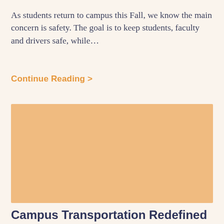As students return to campus this Fall, we know the main concern is safety. The goal is to keep students, faculty and drivers safe, while…
Continue Reading >
[Figure (photo): A placeholder image with a warm peach/orange background color, representing a campus transportation photo.]
Campus Transportation Redefined